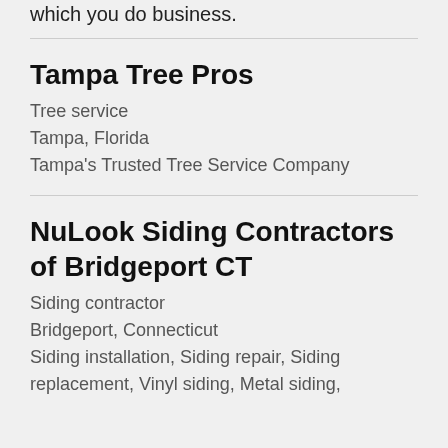which you do business.
Tampa Tree Pros
Tree service
Tampa, Florida
Tampa's Trusted Tree Service Company
NuLook Siding Contractors of Bridgeport CT
Siding contractor
Bridgeport, Connecticut
Siding installation, Siding repair, Siding replacement, Vinyl siding, Metal siding,